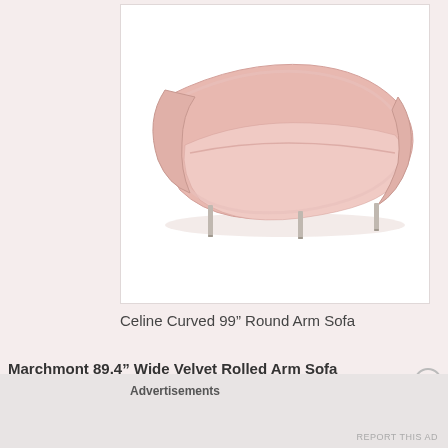[Figure (photo): A curved pink velvet sofa with metal legs, photographed from a slight angle on a white background. The sofa has a crescent/banana shape with rounded arms and a long curved backrest.]
Celine Curved 99” Round Arm Sofa
Marchmont 89.4” Wide Velvet Rolled Arm Sofa
Advertisements